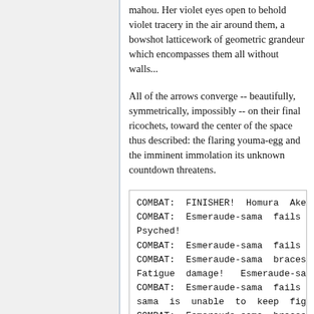mahou. Her violet eyes open to behold violet tracery in the air around them, a bowshot latticework of geometric grandeur which encompasses them all without walls...
All of the arrows converge -- beautifully, symmetrically, impossibly -- on their final ricochets, toward the center of the space thus described: the flaring youma-egg and the imminent immolation its unknown countdown threatens.
COMBAT: FINISHER! Homura Akemi
COMBAT: Esmeraude-sama fails to
Psyched!
COMBAT: Esmeraude-sama fails to
COMBAT: Esmeraude-sama braces f
Fatigue damage! Esmeraude-sama
COMBAT: Esmeraude-sama fails to
sama is unable to keep fighting
COMBAT: Esmeraude-sama braces 4
Esmeraude-sama is unable to kee